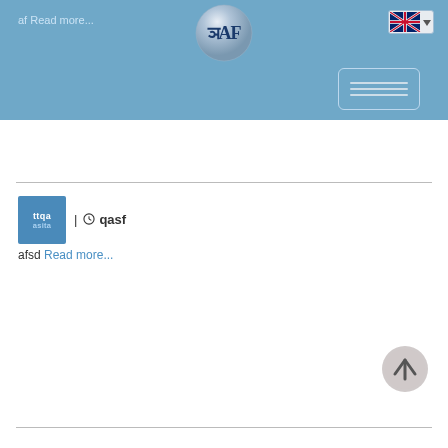af Read more...
[Figure (logo): Circular silver sphere with stylized JAF logo in dark blue]
[Figure (screenshot): Language selector button with UK flag and dropdown arrow]
[Figure (screenshot): Search box with three horizontal lines inside a rounded rectangle border]
[Figure (other): Article thumbnail box with 'ttqa' on top and 'asita' on bottom in blue]
| qasf
afsd Read more...
[Figure (other): Back to top circular button with upward arrow, grey color]